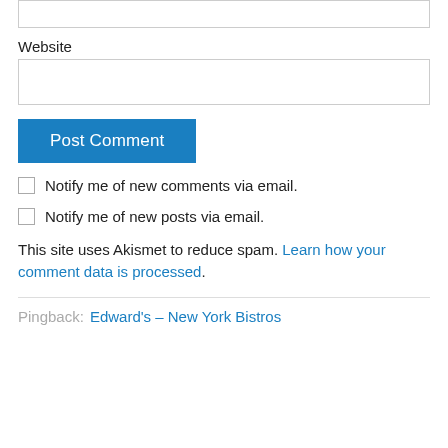Website
Post Comment
Notify me of new comments via email.
Notify me of new posts via email.
This site uses Akismet to reduce spam. Learn how your comment data is processed.
Pingback: Edward's – New York Bistros